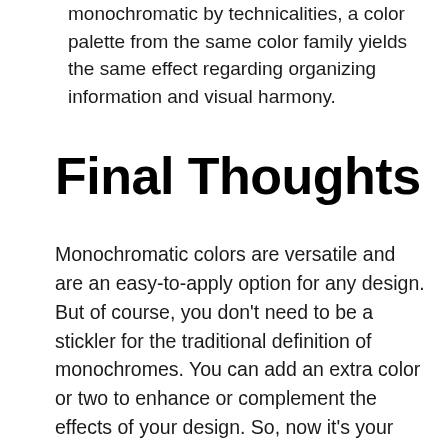monochromatic by technicalities, a color palette from the same color family yields the same effect regarding organizing information and visual harmony.
Final Thoughts
Monochromatic colors are versatile and are an easy-to-apply option for any design. But of course, you don't need to be a stickler for the traditional definition of monochromes. You can add an extra color or two to enhance or complement the effects of your design. So, now it's your turn to utilize this color scheme in your design project.